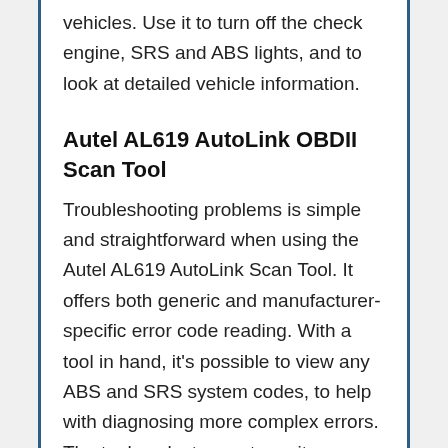vehicles. Use it to turn off the check engine, SRS and ABS lights, and to look at detailed vehicle information.
Autel AL619 AutoLink OBDII Scan Tool
Troubleshooting problems is simple and straightforward when using the Autel AL619 AutoLink Scan Tool. It offers both generic and manufacturer-specific error code reading. With a tool in hand, it's possible to view any ABS and SRS system codes, to help with diagnosing more complex errors. The tool works to reset monitors,